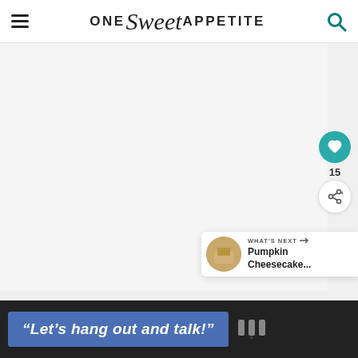One Sweet Appetite
[Figure (screenshot): Main content area of the One Sweet Appetite food blog, showing a large white/light gray image area, a teal heart/like button with count 15, a share button, and a 'What's Next' card showing Pumpkin Cheesecake...]
15
WHAT'S NEXT → Pumpkin Cheesecake...
[Figure (screenshot): Advertisement bar at the bottom with dark background. Blue banner reading "Let's hang out and talk!" and a small logo on the right.]